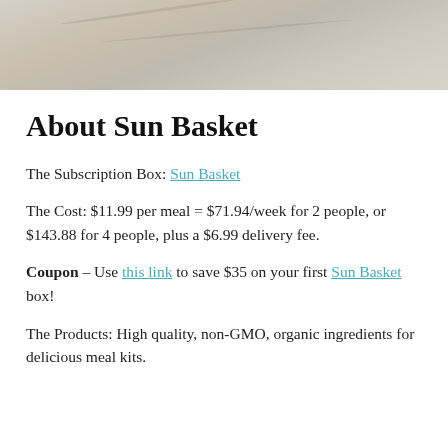[Figure (photo): Top portion of a photo showing a marble or stone texture surface in beige/gray tones]
About Sun Basket
The Subscription Box: Sun Basket
The Cost: $11.99 per meal = $71.94/week for 2 people, or $143.88 for 4 people, plus a $6.99 delivery fee.
Coupon – Use this link to save $35 on your first Sun Basket box!
The Products: High quality, non-GMO, organic ingredients for delicious meal kits.